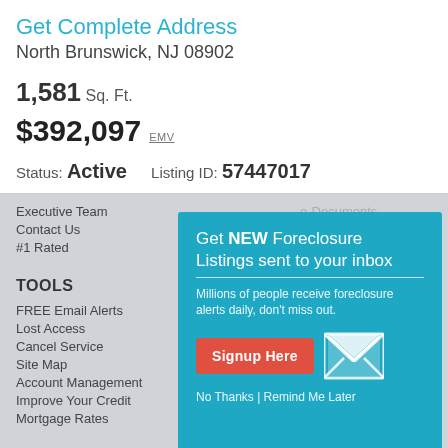Get Complete Address
North Brunswick, NJ 08902
1,581 Sq. Ft.
$392,097 EMV
Status: Active   Listing ID: 57447017
Executive Team
Contact Us
#1 Rated
e-Documents
TOOLS
FREE Email Alerts
Lost Access
Cancel Service
Site Map
Account Management
Improve Your Credit
Mortgage Rates
[Figure (infographic): Teal popup overlay: 'Get NEW Foreclosure Listings sent to your inbox'. Subtitle: 'Millions of people receive foreclosure alerts daily, don't miss out.' Red 'Signup Here' button, envelope icon, 'No Thanks | Remind Me Later' links.]